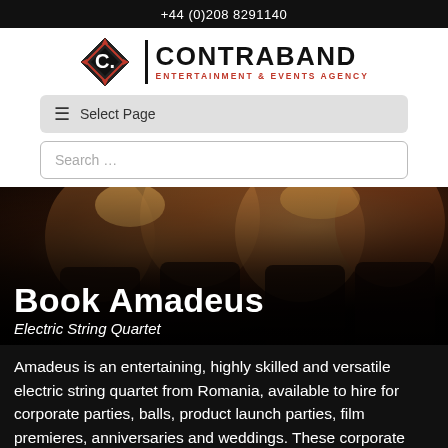+44 (0)208 8291140
[Figure (logo): Contraband Entertainment & Events Agency logo — diamond C emblem with bold CONTRABAND text and red subtitle]
Select Page
Search …
[Figure (photo): Dark blurred photo of musicians playing string instruments, serving as hero banner background]
Book Amadeus
Electric String Quartet
Amadeus is an entertaining, highly skilled and versatile electric string quartet from Romania, available to hire for corporate parties, balls, product launch parties, film premieres, anniversaries and weddings. These corporate entertainers will leave your guests